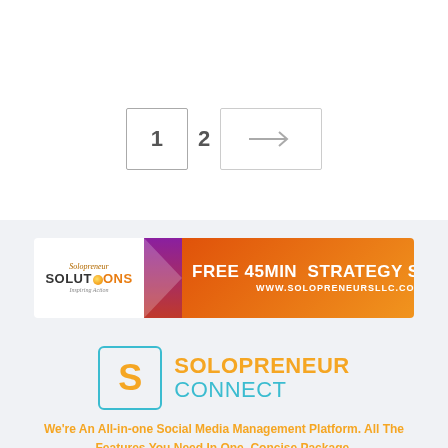[Figure (other): Pagination control showing page 1, page 2, and a next arrow button]
[Figure (other): Banner advertisement for Solopreneur Solutions offering a Free 45 Min Strategy Session at www.solopreneursllc.com]
[Figure (logo): Solopreneur Connect logo with orange S in teal box and brand name]
We're An All-in-one Social Media Management Platform. All The Features You Need In One, Concise Package.